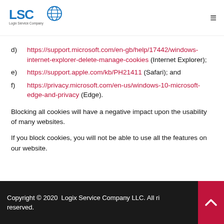LSC Logix Service Company [logo] ≡
d) https://support.microsoft.com/en-gb/help/17442/windows-internet-explorer-delete-manage-cookies (Internet Explorer);
e) https://support.apple.com/kb/PH21411 (Safari); and
f) https://privacy.microsoft.com/en-us/windows-10-microsoft-edge-and-privacy (Edge).
Blocking all cookies will have a negative impact upon the usability of many websites.
If you block cookies, you will not be able to use all the features on our website.
Copyright © 2020 Logix Service Company LLC. All rights reserved.